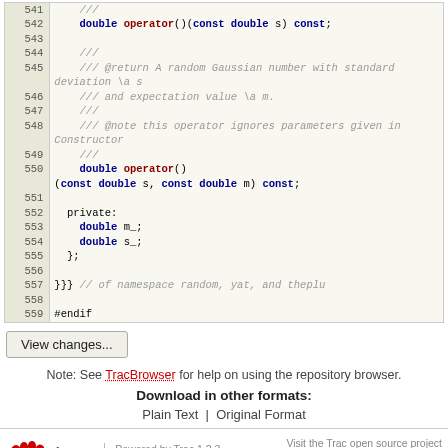[Figure (screenshot): Source code viewer showing C++ code lines 541-559 with line numbers on left in beige column, code on right with syntax highlighting (blue bold keywords, dark red bold operator names, gray italic comments)]
View changes...
Note: See TracBrowser for help on using the repository browser.
Download in other formats:
Plain Text | Original Format
Powered by Trac 1.2.3 By Edgewall Software. Visit the Trac open source project at http://trac.edgewall.org/